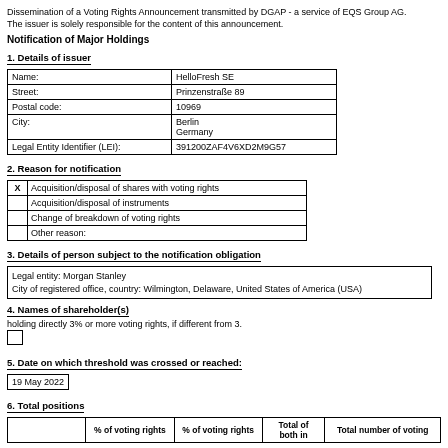Dissemination of a Voting Rights Announcement transmitted by DGAP - a service of EQS Group AG.
The issuer is solely responsible for the content of this announcement.
Notification of Major Holdings
1. Details of issuer
|  |  |
| --- | --- |
| Name: | HelloFresh SE |
| Street: | Prinzenstraße 89 |
| Postal code: | 10969 |
| City: | Berlin
Germany |
| Legal Entity Identifier (LEI): | 391200ZAF4V6XD2M9G57 |
2. Reason for notification
| X | Acquisition/disposal of shares with voting rights |
|  | Acquisition/disposal of instruments |
|  | Change of breakdown of voting rights |
|  | Other reason: |
3. Details of person subject to the notification obligation
Legal entity: Morgan Stanley
City of registered office, country: Wilmington, Delaware, United States of America (USA)
4. Names of shareholder(s)
holding directly 3% or more voting rights, if different from 3.
[]
5. Date on which threshold was crossed or reached:
19 May 2022
6. Total positions
|  | % of voting rights | % of voting rights | Total of both in | Total number of voting |
| --- | --- | --- | --- | --- |